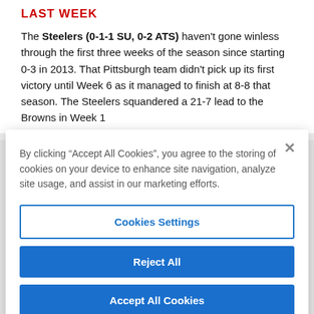LAST WEEK
The Steelers (0-1-1 SU, 0-2 ATS) haven't gone winless through the first three weeks of the season since starting 0-3 in 2013. That Pittsburgh team didn't pick up its first victory until Week 6 as it managed to finish at 8-8 that season. The Steelers squandered a 21-7 lead to the Browns in Week 1
By clicking “Accept All Cookies”, you agree to the storing of cookies on your device to enhance site navigation, analyze site usage, and assist in our marketing efforts.
Cookies Settings
Reject All
Accept All Cookies